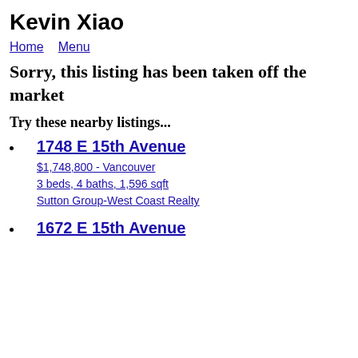Kevin Xiao
Home   Menu
Sorry, this listing has been taken off the market
Try these nearby listings...
1748 E 15th Avenue
$1,748,800 - Vancouver
3 beds, 4 baths, 1,596 sqft
Sutton Group-West Coast Realty
1672 E 15th Avenue